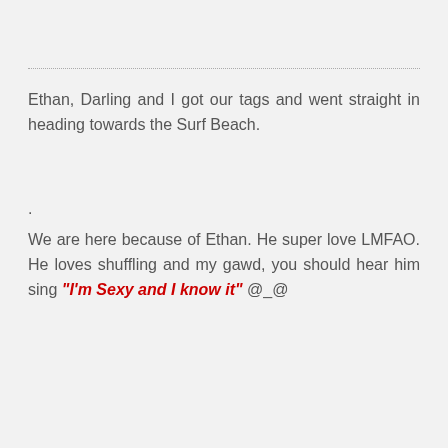Ethan, Darling and I got our tags and went straight in heading towards the Surf Beach.
.
We are here because of Ethan. He super love LMFAO. He loves shuffling and my gawd, you should hear him sing "I'm Sexy and I know it" @_@